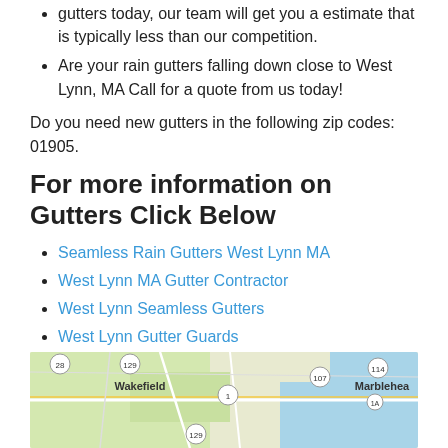gutters today, our team will get you a estimate that is typically less than our competition.
Are your rain gutters falling down close to West Lynn, MA Call for a quote from us today!
Do you need new gutters in the following zip codes: 01905.
For more information on Gutters Click Below
Seamless Rain Gutters West Lynn MA
West Lynn MA Gutter Contractor
West Lynn Seamless Gutters
West Lynn Gutter Guards
Quote for Rain Gutters in West Lynn Massachusetts
[forecast location="42.465374,-70.9814391" caption="Weather for West Lynn" measurement='F' todaylabel="Today" datelabel="date('m/d/Y')" highlow='%%high%%°/%%low%%°' numdays="5" iconset="Contemporary" class="css_table_class" cache="true" width="100%"]
[Figure (map): Google map showing West Lynn MA area with Wakefield and Marblehead visible, showing roads and geographic features]